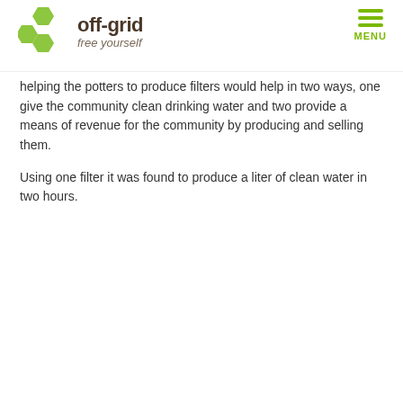off-grid free yourself
helping the potters to produce filters would help in two ways, one give the community clean drinking water and two provide a means of revenue for the community by producing and selling them.
Using one filter it was found to produce a liter of clean water in two hours.